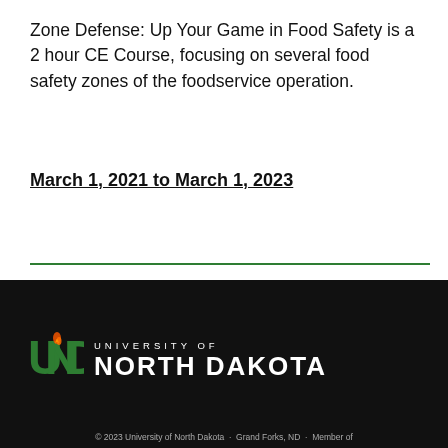Zone Defense: Up Your Game in Food Safety is a 2 hour CE Course, focusing on several food safety zones of the foodservice operation.
March 1, 2021 to March 1, 2023
[Figure (logo): University of North Dakota logo with UND monogram featuring green U, N, D letters with an orange flame/torch icon, followed by 'UNIVERSITY OF NORTH DAKOTA' text in white on black background]
© 2023 University of North Dakota · Grand Forks, ND · Member of